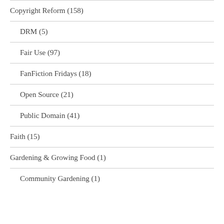Copyright Reform (158)
DRM (5)
Fair Use (97)
FanFiction Fridays (18)
Open Source (21)
Public Domain (41)
Faith (15)
Gardening & Growing Food (1)
Community Gardening (1)